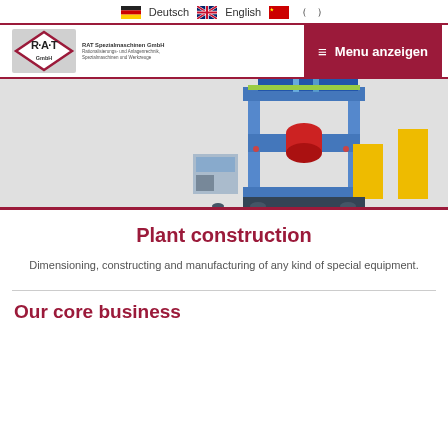Deutsch  English  ( )
[Figure (logo): RAT GmbH diamond logo with company name RAT Spezialmaschinen GmbH and subtitle text]
[Figure (screenshot): Menu anzeigen button in dark red/maroon color with hamburger icon]
[Figure (photo): Industrial machinery - large press or manufacturing equipment in blue, red and yellow colors on grey background]
Plant construction
Dimensioning, constructing and manufacturing of any kind of special equipment.
Our core business